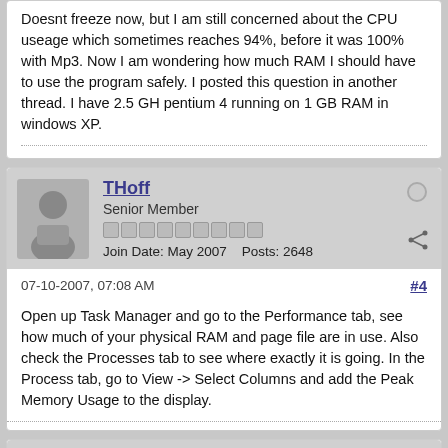Doesnt freeze now, but I am still concerned about the CPU useage which sometimes reaches 94%, before it was 100% with Mp3. Now I am wondering how much RAM I should have to use the program safely. I posted this question in another thread. I have 2.5 GH pentium 4 running on 1 GB RAM in windows XP.
THoff
Senior Member
Join Date: May 2007    Posts: 2648
07-10-2007, 07:08 AM
#4
Open up Task Manager and go to the Performance tab, see how much of your physical RAM and page file are in use. Also check the Processes tab to see where exactly it is going. In the Process tab, go to View -> Select Columns and add the Peak Memory Usage to the display.
pjsssss
Senior Member